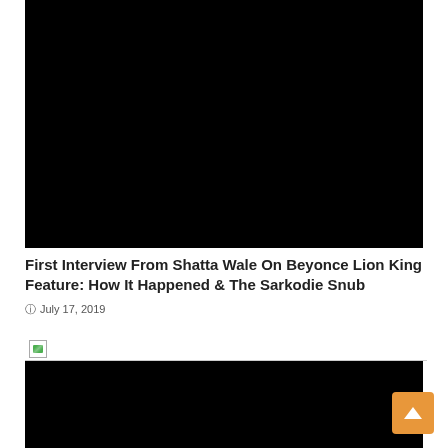[Figure (screenshot): Black video player rectangle at top of page]
First Interview From Shatta Wale On Beyonce Lion King Feature: How It Happened & The Sarkodie Snub
July 17, 2019
[Figure (screenshot): Second black video player rectangle with broken image icon in top bar]